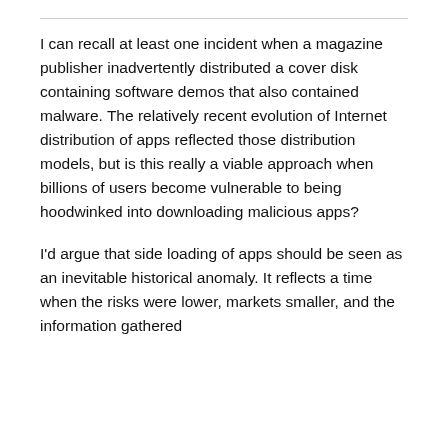I can recall at least one incident when a magazine publisher inadvertently distributed a cover disk containing software demos that also contained malware. The relatively recent evolution of Internet distribution of apps reflected those distribution models, but is this really a viable approach when billions of users become vulnerable to being hoodwinked into downloading malicious apps?
I'd argue that side loading of apps should be seen as an inevitable historical anomaly. It reflects a time when the risks were lower, markets smaller, and the information gathered